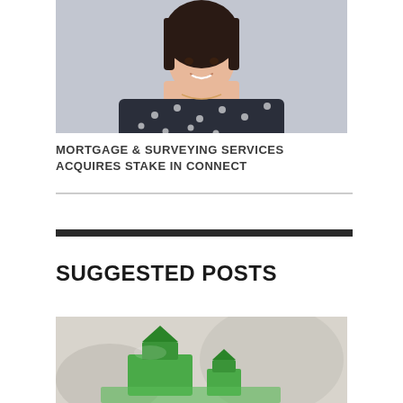[Figure (photo): Portrait photo of a woman with dark shoulder-length hair, wearing a dark polka-dot blouse, smiling, against a light grey background]
MORTGAGE & SURVEYING SERVICES ACQUIRES STAKE IN CONNECT
[Figure (photo): Close-up photo of green Monopoly-style game pieces on a board, blurred background, representing property/real estate concept]